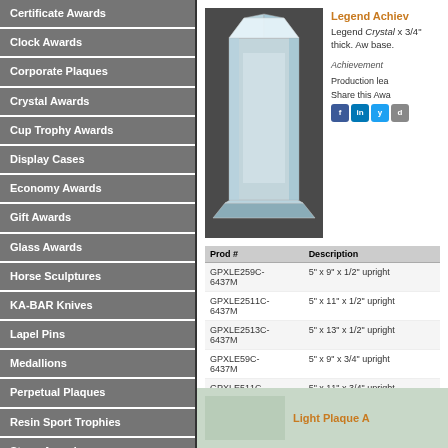Certificate Awards
Clock Awards
Corporate Plaques
Crystal Awards
Cup Trophy Awards
Display Cases
Economy Awards
Gift Awards
Glass Awards
Horse Sculptures
KA-BAR Knives
Lapel Pins
Medallions
Perpetual Plaques
Resin Sport Trophies
Stone Awards
Trophies | Resin
Legend Achiev
Legend Crystal x 3/4" thick. Aw base.
Achievement
Production lea
Share this Awa
[Figure (photo): Crystal award trophy product photo on dark background]
| Prod # | Description |
| --- | --- |
| GPXLE259C-6437M | 5" x 9" x 1/2" upright |
| GPXLE2511C-6437M | 5" x 11" x 1/2" upright |
| GPXLE2513C-6437M | 5" x 13" x 1/2" upright |
| GPXLE59C-6437M | 5" x 9" x 3/4" upright |
| GPXLE511C-6437M | 5" x 11" x 3/4" upright |
| GPXLE513C-6437M | 5" x 13" x 3/4" u-right |
Light Plaque A